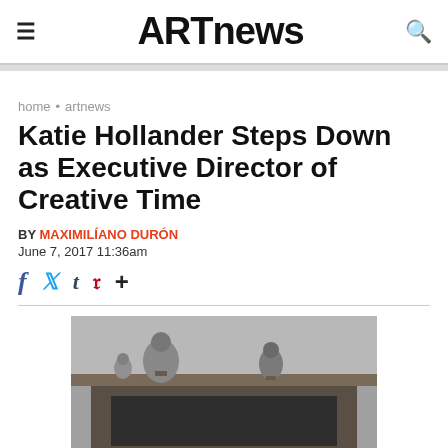ARTnews
home • artnews
Katie Hollander Steps Down as Executive Director of Creative Time
BY MAXIMILIANO DURÓN
June 7, 2017 11:36am
[Figure (photo): Black and white photograph, partially visible, showing a mantelpiece with figurines on top and a dark framed object beneath.]